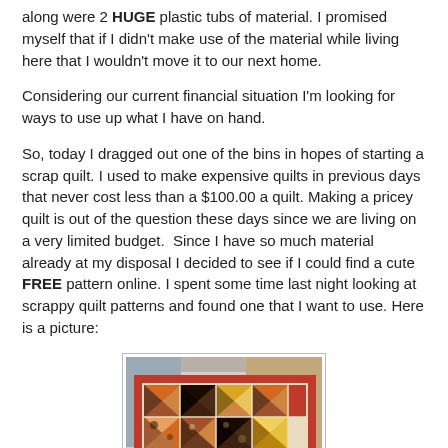along were 2 HUGE plastic tubs of material. I promised myself that if I didn't make use of the material while living here that I wouldn't move it to our next home.
Considering our current financial situation I'm looking for ways to use up what I have on hand.
So, today I dragged out one of the bins in hopes of starting a scrap quilt. I used to make expensive quilts in previous days that never cost less than a $100.00 a quilt. Making a pricey quilt is out of the question these days since we are living on a very limited budget.  Since I have so much material already at my disposal I decided to see if I could find a cute FREE pattern online. I spent some time last night looking at scrappy quilt patterns and found one that I want to use. Here is a picture:
[Figure (photo): Photo of a scrappy quilt with patchwork triangles and squares in warm earth tones — browns, oranges, reds, yellows, and blacks — with a red border, draped over a surface.]